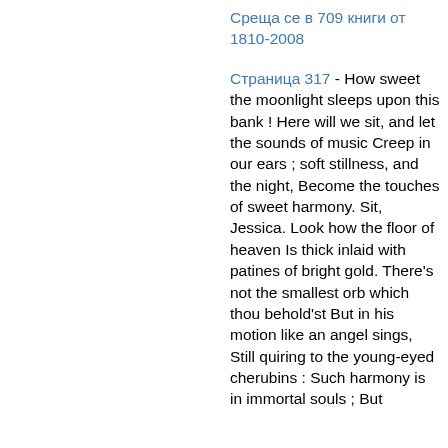Среща се в 709 книги от 1810-2008
Страница 317 - How sweet the moonlight sleeps upon this bank ! Here will we sit, and let the sounds of music Creep in our ears ; soft stillness, and the night, Become the touches of sweet harmony. Sit, Jessica. Look how the floor of heaven Is thick inlaid with patines of bright gold. There's not the smallest orb which thou behold'st But in his motion like an angel sings, Still quiring to the young-eyed cherubins : Such harmony is in immortal souls ; But